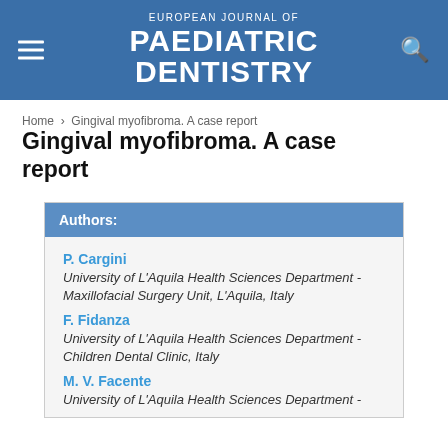EUROPEAN JOURNAL OF PAEDIATRIC DENTISTRY
Home › Gingival myofibroma. A case report
Gingival myofibroma. A case report
Authors:
P. Cargini
University of L'Aquila Health Sciences Department - Maxillofacial Surgery Unit, L'Aquila, Italy
F. Fidanza
University of L'Aquila Health Sciences Department - Children Dental Clinic, Italy
M. V. Facente
University of L'Aquila Health Sciences Department -